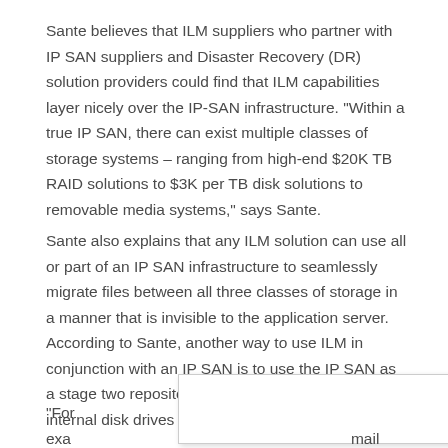Sante believes that ILM suppliers who partner with IP SAN suppliers and Disaster Recovery (DR) solution providers could find that ILM capabilities layer nicely over the IP-SAN infrastructure. "Within a true IP SAN, there can exist multiple classes of storage systems – ranging from high-end $20K TB RAID solutions to $3K per TB disk solutions to removable media systems," says Sante.
Sante also explains that any ILM solution can use all or part of an IP SAN infrastructure to seamlessly migrate files between all three classes of storage in a manner that is invisible to the application server. According to Sante, another way to use ILM in conjunction with an IP SAN is to use the IP SAN as a stage two repository for files located on the internal disk drives of the application server.
"For exa[mple, …]mail